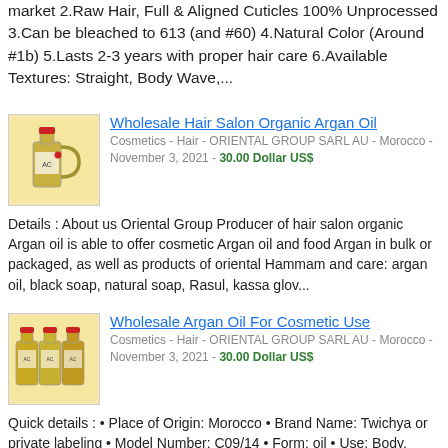market 2.Raw Hair, Full & Aligned Cuticles 100% Unprocessed 3.Can be bleached to 613 (and #60) 4.Natural Color (Around #1b) 5.Lasts 2-3 years with proper hair care 6.Available Textures: Straight, Body Wave,...
Wholesale Hair Salon Organic Argan Oil
Cosmetics - Hair - ORIENTAL GROUP SARL AU - Morocco - November 3, 2021 - 30.00 Dollar US$
Details : About us Oriental Group Producer of hair salon organic Argan oil is able to offer cosmetic Argan oil and food Argan in bulk or packaged, as well as products of oriental Hammam and care: argan oil, black soap, natural soap, Rasul, kassa glov...
Wholesale Argan Oil For Cosmetic Use
Cosmetics - Hair - ORIENTAL GROUP SARL AU - Morocco - November 3, 2021 - 30.00 Dollar US$
Quick details : • Place of Origin: Morocco • Brand Name: Twichya or private labeling • Model Number: C09/14 • Form: oil • Use: Body, Face and hair (cosmetic use.) • Supply